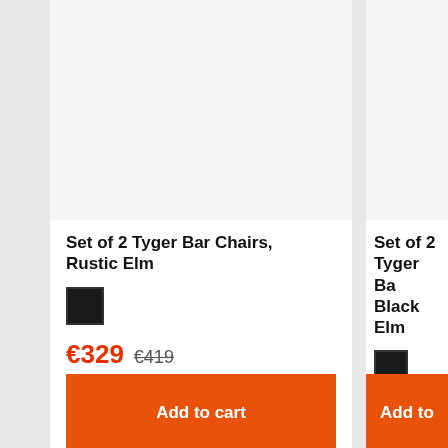[Figure (photo): Product image area for Set of 2 Tyger Bar Chairs, Rustic Elm — image not visible, blank area]
Set of 2 Tyger Bar Chairs, Rustic Elm
[Figure (illustration): Black color swatch square for Rustic Elm variant]
€329  €419
Add to cart
[Figure (photo): Product image area for Set of 2 Tyger Bar Chairs, Black Elm — image not visible, blank area]
Set of 2 Tyger Bar Chairs, Black Elm
[Figure (illustration): Black color swatch square for Black Elm variant]
€319  €419
Add to